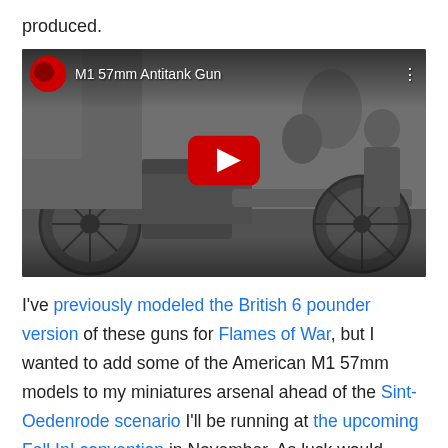produced.
[Figure (screenshot): YouTube video thumbnail showing M1 57mm Antitank Gun in black and white, with red YouTube play button in center and channel avatar in top-left.]
I've previously modeled the British 6 pounder version of these guns for Flames of War, but I wanted to add some of the American M1 57mm models to my miniatures arsenal ahead of the Sint-Oedenrode scenario I'll be running at the upcoming Fall In! convention in November. As luck would